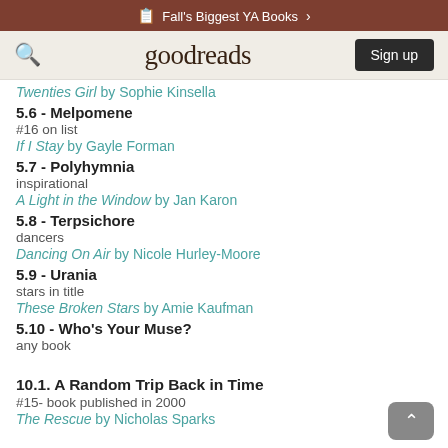Fall's Biggest YA Books
goodreads  Sign up
Twenties Girl by Sophie Kinsella
5.6 - Melpomene
#16 on list
If I Stay by Gayle Forman
5.7 - Polyhymnia
inspirational
A Light in the Window by Jan Karon
5.8 - Terpsichore
dancers
Dancing On Air by Nicole Hurley-Moore
5.9 - Urania
stars in title
These Broken Stars by Amie Kaufman
5.10 - Who's Your Muse?
any book
10.1. A Random Trip Back in Time
#15- book published in 2000
The Rescue by Nicholas Sparks